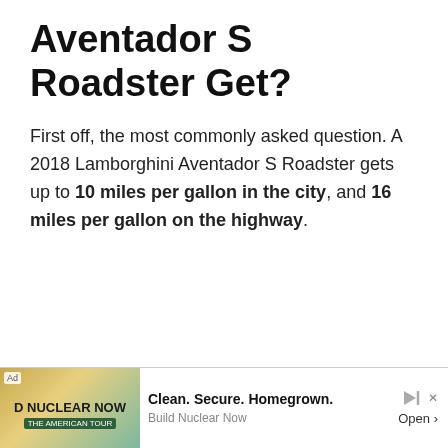Aventador S Roadster Get?
First off, the most commonly asked question. A 2018 Lamborghini Aventador S Roadster gets up to 10 miles per gallon in the city, and 16 miles per gallon on the highway.
[Figure (other): Advertisement banner: 'D NUCLEAR NOW' ad with teal/gold graphic. Text reads 'Clean. Secure. Homegrown.' and 'Build Nuclear Now' with Open button. Labeled 'Ad'.]